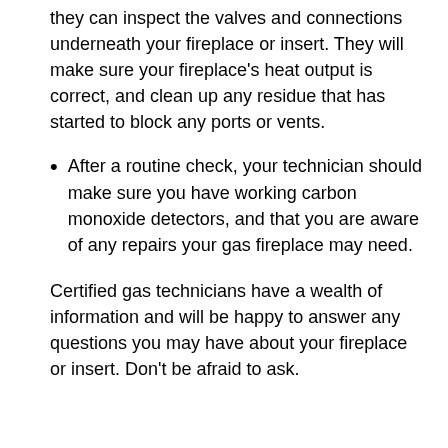they can inspect the valves and connections underneath your fireplace or insert. They will make sure your fireplace's heat output is correct, and clean up any residue that has started to block any ports or vents.
After a routine check, your technician should make sure you have working carbon monoxide detectors, and that you are aware of any repairs your gas fireplace may need.
Certified gas technicians have a wealth of information and will be happy to answer any questions you may have about your fireplace or insert. Don't be afraid to ask.